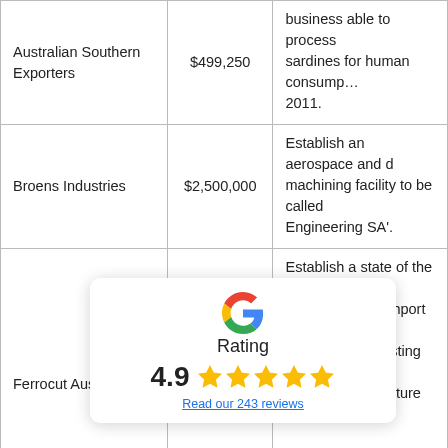| Organisation | Funding | Purpose |
| --- | --- | --- |
| Australian Southern Exporters | $499,250 | business able to process sardines for human consumption 2011. |
| Broens Industries | $2,500,000 | Establish an aerospace and machining facility to be called Engineering SA'. |
| Ferrocut Australia | $2,250,000 | Establish a state of the art centre at the Techport facility expansion of existing disciplines to capture opportunities est w i |
| Intex Holdings | $1,000,000 | greenhouse gas emissions in |